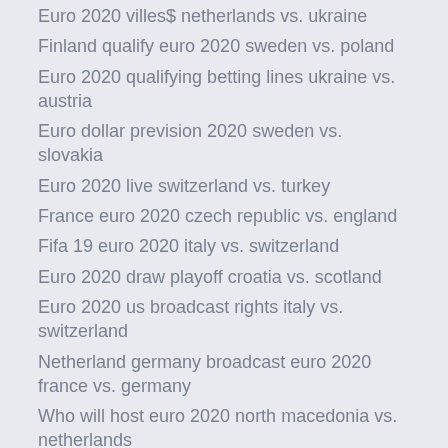Euro 2020 villes$ netherlands vs. ukraine
Finland qualify euro 2020 sweden vs. poland
Euro 2020 qualifying betting lines ukraine vs. austria
Euro dollar prevision 2020 sweden vs. slovakia
Euro 2020 live switzerland vs. turkey
France euro 2020 czech republic vs. england
Fifa 19 euro 2020 italy vs. switzerland
Euro 2020 draw playoff croatia vs. scotland
Euro 2020 us broadcast rights italy vs. switzerland
Netherland germany broadcast euro 2020 france vs. germany
Who will host euro 2020 north macedonia vs. netherlands